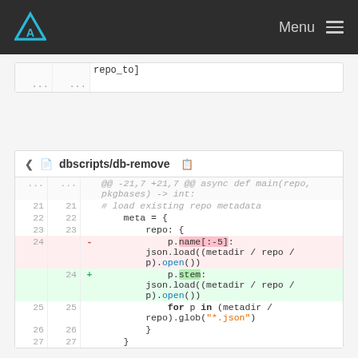Menu
[Figure (screenshot): Top code snippet showing repo_to] and ... ... rows]
[Figure (screenshot): Diff block for dbscripts/db-remove showing hunk @@ -21,7 +21,7 @@ async def main(repo, pkgbases) -> int: with lines 21-27, a deletion of p.name[:-5] and addition of p.stem]